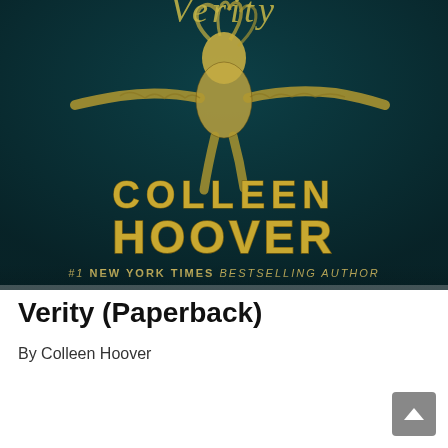[Figure (illustration): Book cover of 'Verity' by Colleen Hoover. Dark teal/green background with a figure of a person floating or falling with arms outstretched, rendered in golden/yellow textured style. Large bold gold letters read 'COLLEEN HOOVER' across the cover, with '#1 NEW YORK TIMES BESTSELLING AUTHOR' below. The word 'Verity' in cursive script appears at the top.]
Verity (Paperback)
By Colleen Hoover